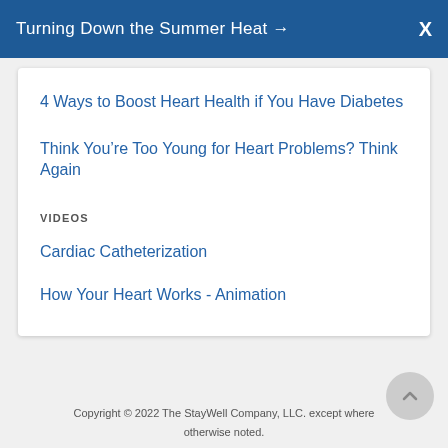Turning Down the Summer Heat →  X
4 Ways to Boost Heart Health if You Have Diabetes
Think You're Too Young for Heart Problems? Think Again
VIDEOS
Cardiac Catheterization
How Your Heart Works - Animation
Copyright © 2022 The StayWell Company, LLC. except where otherwise noted.